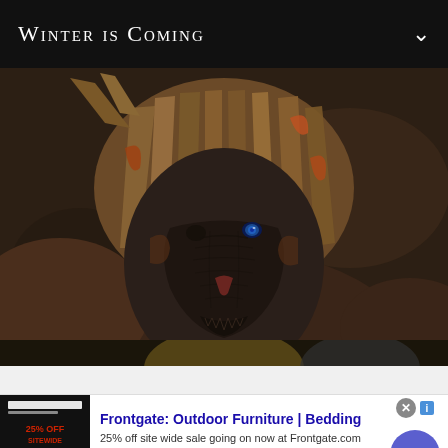Winter is Coming
[Figure (photo): Close-up of a fantasy creature or monster with a wrinkled dark face, blue eye visible, wearing a wooden/bark helmet with horns and rusty metal accents. Dark moody background.]
[Figure (photo): Partial view of another image below the main photo, showing dark background with a golden circular object.]
Frontgate: Outdoor Furniture | Bedding
25% off site wide sale going on now at Frontgate.com
frontgate.com